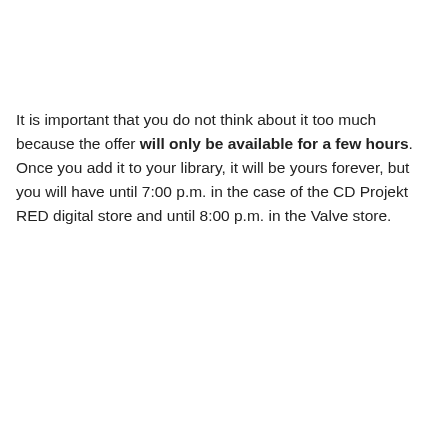It is important that you do not think about it too much because the offer will only be available for a few hours. Once you add it to your library, it will be yours forever, but you will have until 7:00 p.m. in the case of the CD Projekt RED digital store and until 8:00 p.m. in the Valve store.